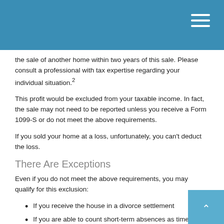the sale of another home within two years of this sale. Please consult a professional with tax expertise regarding your individual situation.²
This profit would be excluded from your taxable income. In fact, the sale may not need to be reported unless you receive a Form 1099-S or do not meet the above requirements.
If you sold your home at a loss, unfortunately, you can't deduct the loss.
There Are Exceptions
Even if you do not meet the above requirements, you may qualify for this exclusion:
If you receive the house in a divorce settlement
If you are able to count short-term absences as time lived in the house
If a surviving spouse who has not remarried can count the time that the deceased spouse lived in the house.¹